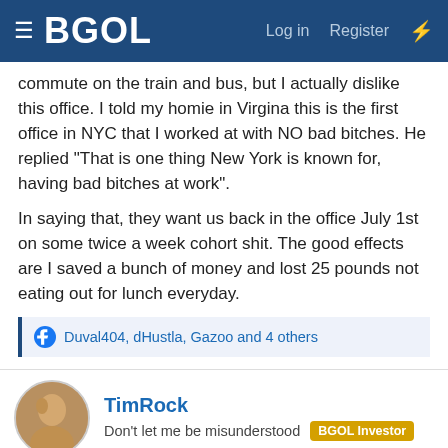BGOL  Log in  Register
commute on the train and bus, but I actually dislike this office. I told my homie in Virgina this is the first office in NYC that I worked at with NO bad bitches. He replied "That is one thing New York is known for, having bad bitches at work".
In saying that, they want us back in the office July 1st on some twice a week cohort shit. The good effects are I saved a bunch of money and lost 25 pounds not eating out for lunch everyday.
Duval404, dHustla, Gazoo and 4 others
TimRock
Don't let me be misunderstood  BGOL Investor
Apr 26, 2021  #20
Been working from home for over a year now. Supposed to go back in July but that might change. Was originally supposed to go back this month. I don't care either way. They purchased all